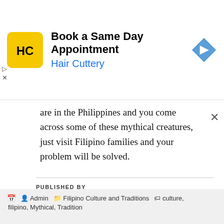[Figure (screenshot): Hair Cuttery advertisement banner: yellow square logo with 'HC' initials, text 'Book a Same Day Appointment' in bold and 'Hair Cuttery' in blue, blue diamond navigation arrow icon on right]
are in the Philippines and you come across some of these mythical creatures, just visit Filipino families and your problem will be solved.
PUBLISHED BY
Admin
Nice to meet you View all posts by Admin →
Admin   Filipino Culture and Traditions   culture, filipino, Mythical, Tradition